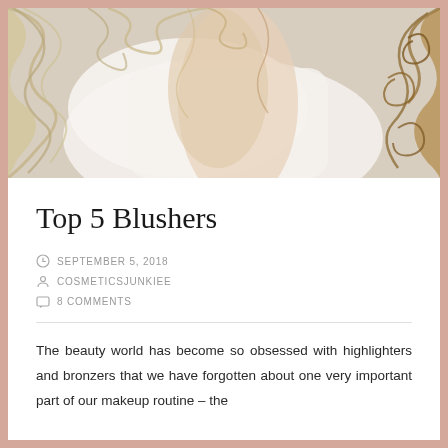[Figure (photo): Close-up photo of a person with curly and wavy blonde/brown hair against a white fabric background, viewed from above.]
Top 5 Blushers
SEPTEMBER 5, 2018
COSMETICSJUNKIEE
8 COMMENTS
The beauty world has become so obsessed with highlighters and bronzers that we have forgotten about one very important part of our makeup routine – the